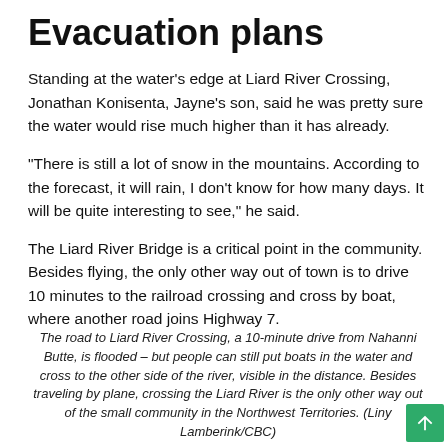Evacuation plans
Standing at the water’s edge at Liard River Crossing, Jonathan Konisenta, Jayne’s son, said he was pretty sure the water would rise much higher than it has already.
“There is still a lot of snow in the mountains. According to the forecast, it will rain, I don’t know for how many days. It will be quite interesting to see,” he said.
The Liard River Bridge is a critical point in the community. Besides flying, the only other way out of town is to drive 10 minutes to the railroad crossing and cross by boat, where another road joins Highway 7.
The road to Liard River Crossing, a 10-minute drive from Nahanni Butte, is flooded – but people can still put boats in the water and cross to the other side of the river, visible in the distance. Besides traveling by plane, crossing the Liard River is the only other way out of the small community in the Northwest Territories. (Liny Lamberink/CBC)